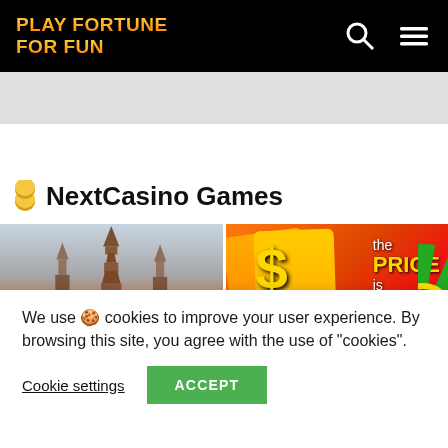PLAY FORTUNE FOR FUN
NextCasino Games
[Figure (screenshot): Katmandu slot game thumbnail showing pagoda towers against misty sky with golden KATMANDU text at bottom]
[Figure (screenshot): The Price Is Right slot game thumbnail showing dollar sign and game title text on orange-red background]
We use 🍪 cookies to improve your user experience. By browsing this site, you agree with the use of "cookies".
Cookie settings
ACCEPT